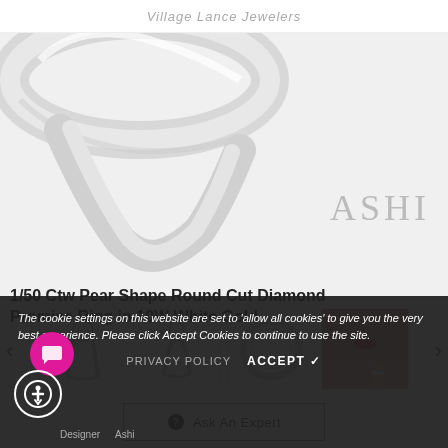Village Lance Jewelers
[Figure (photo): Close-up of a diamond solitaire ring in white metal on white background, with ASHI brand watermark]
[Figure (photo): Thumbnail 1: round solitaire ring top view]
[Figure (photo): Thumbnail 2: pear-shaped solitaire ring]
[Figure (photo): Thumbnail 3: plain band side view]
[Figure (photo): Thumbnail 4: woman's hand wearing ring]
Ask An Expert
1/50 Ctw Pear Shape Round Cut Diamond Promise Ring in 10W White Gold
The cookie settings on this website are set to 'allow all cookies' to give you the very best experience. Please click Accept Cookies to continue to use the site.
PRIVACY POLICY   ACCEPT ✓
Designer
Ashi